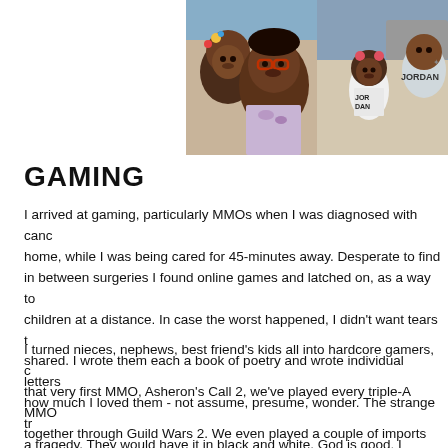[Figure (photo): Two photos side by side: left shows a woman with glasses and a young child cheek to cheek, right shows a young girl wearing a Jordan shirt with an adult beside her]
GAMING
I arrived at gaming, particularly MMOs when I was diagnosed with canc... home, while I was being cared for 45-minutes away. Desperate to find in between surgeries I found online games and latched on, as a way to children at a distance. In case the worst happened, I didn't want tears t... shared. I wrote them each a book of poetry and wrote individual letters how much I loved them - not assume, presume, wonder. The strange tr... a tragedy. They would have it in black and white. God is good. I survive and gaming became a staple of our lives.
I turned nieces, nephews, best friend's kids all into hardcore gamers, c... that very first MMO, Asheron's Call 2, we've played every triple-A MMO together through Guild Wars 2. We even played a couple of imports su... Through high school, college, and beyond. The girls and I played Don't illness formed a bond with gaming to have shared virtual experiences...